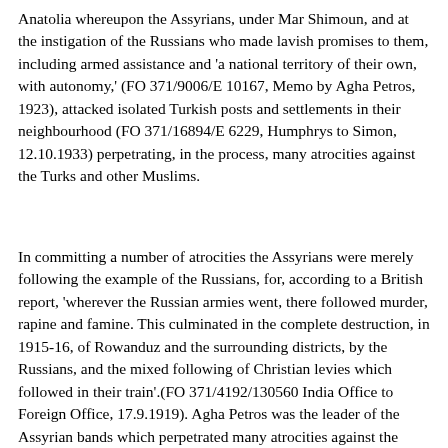Anatolia whereupon the Assyrians, under Mar Shimoun, and at the instigation of the Russians who made lavish promises to them, including armed assistance and 'a national territory of their own, with autonomy,' (FO 371/9006/E 10167, Memo by Agha Petros, 1923), attacked isolated Turkish posts and settlements in their neighbourhood (FO 371/16894/E 6229, Humphrys to Simon, 12.10.1933) perpetrating, in the process, many atrocities against the Turks and other Muslims.
In committing a number of atrocities the Assyrians were merely following the example of the Russians, for, according to a British report, 'wherever the Russian armies went, there followed murder, rapine and famine. This culminated in the complete destruction, in 1915-16, of Rowanduz and the surrounding districts, by the Russians, and the mixed following of Christian levies which followed in their train'.(FO 371/4192/130560 India Office to Foreign Office, 17.9.1919). Agha Petros was the leader of the Assyrian bands which perpetrated many atrocities against the Muslims. He was also intriguing with the British as early as 1915. Letter from Paul Shimoun (brother of the